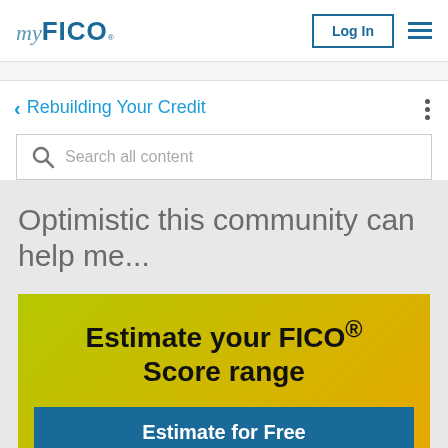myFICO
Rebuilding Your Credit
Search all content
Optimistic this community can help me...
[Figure (infographic): Promotional banner with yellow-green gradient background reading: Estimate your FICO® Score range, with a blue button labeled Estimate for Free]
Estimate your FICO® Score range
Estimate for Free